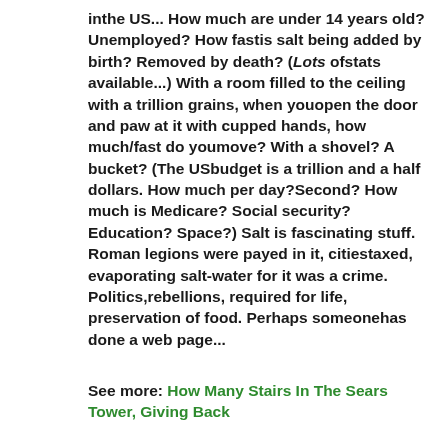inthe US... How much are under 14 years old? Unemployed? How fastis salt being added by birth? Removed by death? (Lots ofstats available...) With a room filled to the ceiling with a trillion grains, when youopen the door and paw at it with cupped hands, how much/fast do youmove? With a shovel? A bucket? (The USbudget is a trillion and a half dollars. How much per day?Second? How much is Medicare? Social security? Education? Space?) Salt is fascinating stuff. Roman legions were payed in it, citiestaxed, evaporating salt-water for it was a crime. Politics,rebellions, required for life, preservation of food. Perhaps someonehas done a web page...
See more: How Many Stairs In The Sears Tower, Giving Back